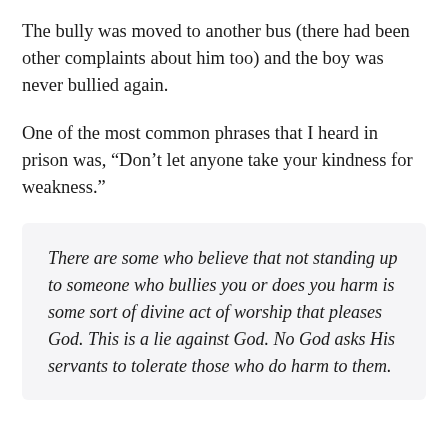The bully was moved to another bus (there had been other complaints about him too) and the boy was never bullied again.
One of the most common phrases that I heard in prison was, “Don’t let anyone take your kindness for weakness.”
There are some who believe that not standing up to someone who bullies you or does you harm is some sort of divine act of worship that pleases God. This is a lie against God. No God asks His servants to tolerate those who do harm to them.